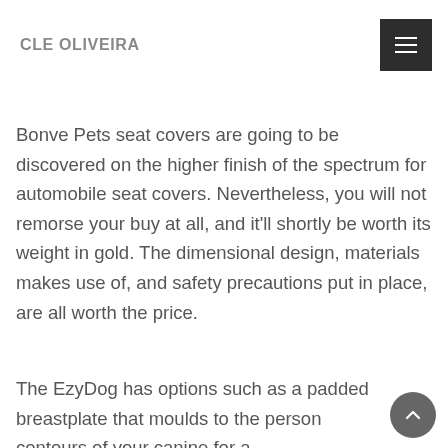CLE OLIVEIRA
Bonve Pets seat covers are going to be discovered on the higher finish of the spectrum for automobile seat covers. Nevertheless, you will not remorse your buy at all, and it'll shortly be worth its weight in gold. The dimensional design, materials makes use of, and safety precautions put in place, are all worth the price.
The EzyDog has options such as a padded breastplate that moulds to the person contours of your canine for a